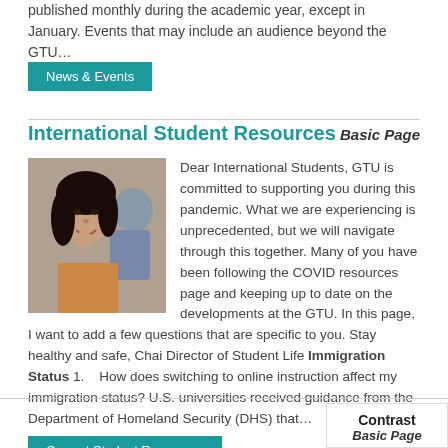published monthly during the academic year, except in January. Events that may include an audience beyond the GTU…
News & Events
International Student Resources
Basic Page
[Figure (photo): Photo of a smiling woman with dark hair, posed candidly.]
Dear International Students, GTU is committed to supporting you during this pandemic. What we are experiencing is unprecedented, but we will navigate through this together. Many of you have been following the COVID resources page and keeping up to date on the developments at the GTU. In this page, I want to add a few questions that are specific to you. Stay healthy and safe, Chai Director of Student Life Immigration Status 1.    How does switching to online instruction affect my immigration status? U.S. universities received guidance from the Department of Homeland Security (DHS) that…
Current Student Resources
Contrast
Basic Page